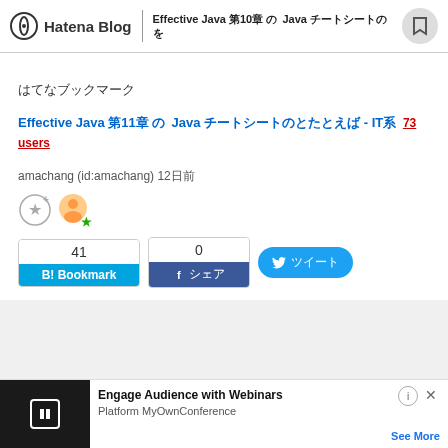Hatena Blog | Effective Java 第10章 の Java チートシートのを
はてなブックマーク
Effective Java 第11章 の Java チートシートのとたとえば - IT系 73 users
amachang (id:amachang) 12日前
41 B! Bookmark | 0 Facebookシェア | ツイート
[Figure (screenshot): Advertisement banner: Engage Audience with Webinars - Platform MyOwnConference See More]